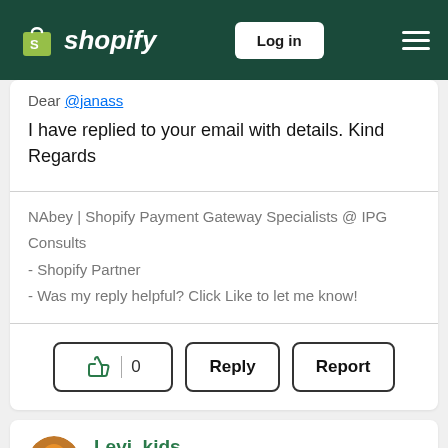Shopify — Log in
Dear @janass
I have replied to your email with details. Kind Regards
NAbey | Shopify Payment Gateway Specialists @ IPG Consults
- Shopify Partner
- Was my reply helpful? Click Like to let me know!
👍 0   Reply   Report
Levi_kids
New Member